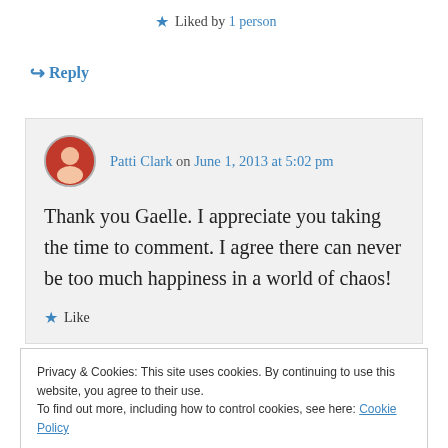★ Liked by 1 person
↪ Reply
Patti Clark on June 1, 2013 at 5:02 pm
Thank you Gaelle. I appreciate you taking the time to comment. I agree there can never be too much happiness in a world of chaos!
★ Like
Privacy & Cookies: This site uses cookies. By continuing to use this website, you agree to their use.
To find out more, including how to control cookies, see here: Cookie Policy
Close and accept
I love the positive energy in your blog; and